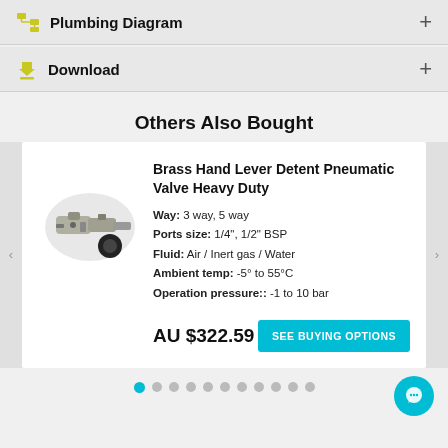Plumbing Diagram
Download
Others Also Bought
Brass Hand Lever Detent Pneumatic Valve Heavy Duty
Way: 3 way, 5 way
Ports size: 1/4", 1/2" BSP
Fluid: Air / Inert gas / Water
Ambient temp: -5° to 55°C
Operation pressure:: -1 to 10 bar
AU $322.59
[Figure (photo): Brass hand lever detent pneumatic valve product photo]